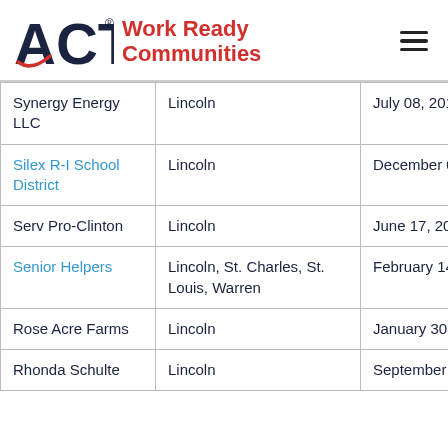ACT Work Ready Communities
|  |  |  |
| --- | --- | --- |
| Synergy Energy LLC | Lincoln | July 08, 2016 |
| Silex R-I School District | Lincoln | December 09, 2015 |
| Serv Pro-Clinton | Lincoln | June 17, 2015 |
| Senior Helpers | Lincoln, St. Charles, St. Louis, Warren | February 14, 2017 |
| Rose Acre Farms | Lincoln | January 30, 2017 |
| Rhonda Schulte | Lincoln | September 13, 2017 |